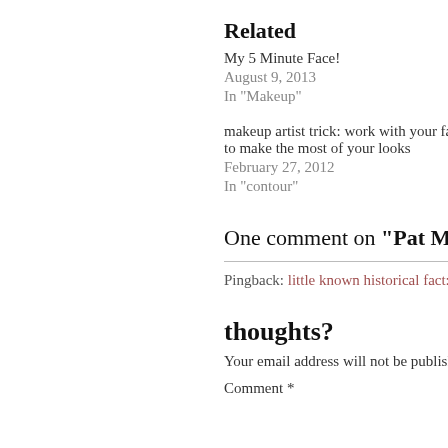Related
My 5 Minute Face!
August 9, 2013
In "Makeup"
makeup artist trick: work with your face shape to make the most of your looks
February 27, 2012
In "contour"
One comment on “Pat McGrat
Pingback: little known historical fact: Sarah
thoughts?
Your email address will not be published. Re
Comment *